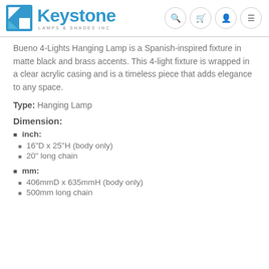Keystone Lamps & Shades Inc
Bueno 4-Lights Hanging Lamp is a Spanish-inspired fixture in matte black and brass accents. This 4-light fixture is wrapped in a clear acrylic casing and is a timeless piece that adds elegance to any space.
Type: Hanging Lamp
Dimension:
inch:
16"D x 25"H (body only)
20" long chain
mm:
406mmD x 635mmH (body only)
500mm long chain